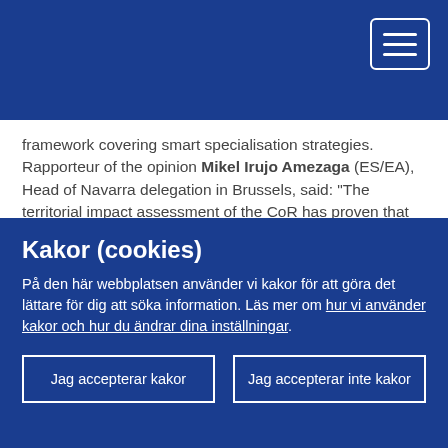framework covering smart specialisation strategies. Rapporteur of the opinion Mikel Irujo Amezaga (ES/EA), Head of Navarra delegation in Brussels, said: "The territorial impact assessment of the CoR has proven that smart specialisation can make a difference in regional development. There are however a number of obstacles to overcome to allow better co-operation between Europe's cities and regions and in creating more synergies with other EU programmes."
The European Commission will discuss the main findings of the communication at the Smart Regions 2.0 conference in Helsinki on 1–2 June. President Markkula and CoR rapporteur
Kakor (cookies)
På den här webbplatsen använder vi kakor för att göra det lättare för dig att söka information. Läs mer om hur vi använder kakor och hur du ändrar dina inställningar.